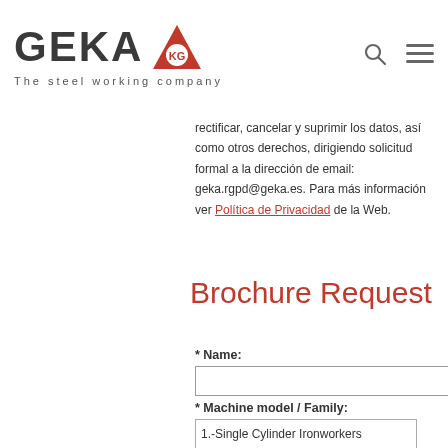[Figure (logo): GEKA logo with red triangle icon and tagline 'The steel working company']
rectificar, cancelar y suprimir los datos, así como otros derechos, dirigiendo solicitud formal a la dirección de email: geka.rgpd@geka.es. Para más información ver Política de Privacidad de la Web.
Brochure Request
* Name:
* Machine model / Family:
1.-Single Cylinder Ironworkers
2.-Dual Cylinder Ironworkers
3.-Ironworkers with Bending Station
4.-Punching Machines